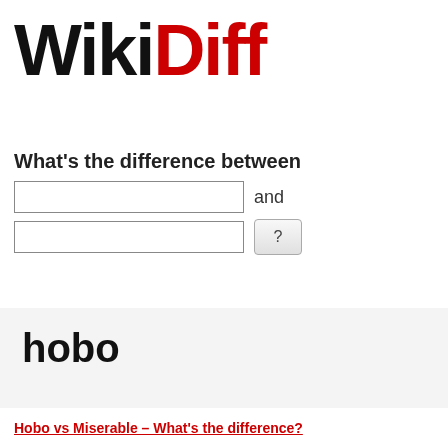[Figure (logo): WikiDiff logo with 'Wiki' in black bold and 'Diff' in red bold large text]
What's the difference between
[Figure (screenshot): Two text input fields with 'and' label after first field and '?' button after second field]
hobo
Hobo vs Miserable – What's the difference?